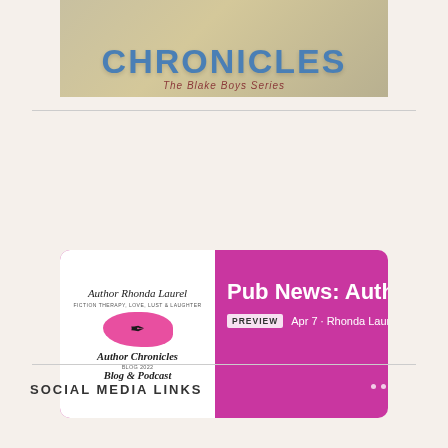[Figure (illustration): Book cover image showing 'CHRONICLES' text in large blue letters with 'The Blake Boys Series' subtitle below, on a beige/tan gradient background]
[Figure (screenshot): Spotify podcast player card with magenta/pink background showing Author Chronicles Blog & Podcast cover art on the left, and 'Pub News: Author Ch...' episode title with PREVIEW badge, 'Apr 7 · Rhonda Laurel, R...' metadata, three dots menu, and white circular play button on the right. Spotify logo in top right corner.]
SOCIAL MEDIA LINKS